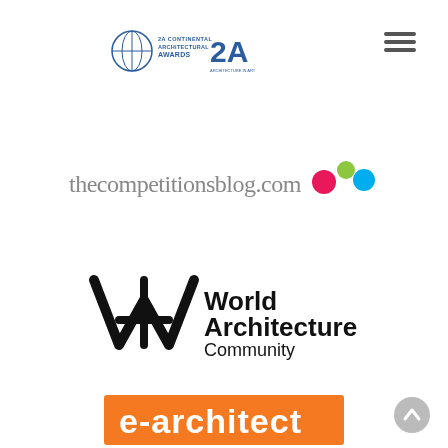[Figure (logo): 2A Continental Architectural Awards logo with globe icon and 2A text]
[Figure (logo): Hamburger menu icon (three horizontal lines)]
[Figure (logo): thecompetitionsblog.com logo with colorful dots]
[Figure (logo): World Architecture Community logo with stylized W/A lettermark]
[Figure (logo): e-architect logo with orange background and white text]
[Figure (logo): Circular back-to-top button in bottom right corner]